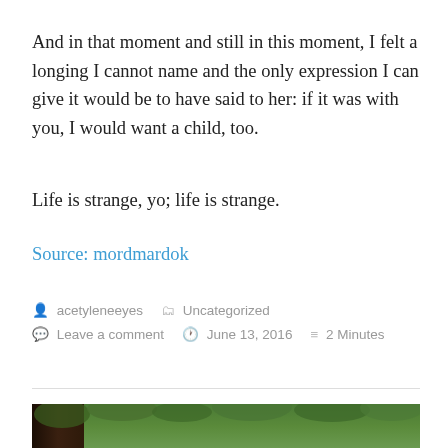And in that moment and still in this moment, I felt a longing I cannot name and the only expression I can give it would be to have said to her: if it was with you, I would want a child, too.
Life is strange, yo; life is strange.
Source: mordmardok
acetyleneeyes   Uncategorized
Leave a comment   June 13, 2016   2 Minutes
[Figure (photo): A dark nature photograph showing a tree trunk on the left and green leafy foliage in the background.]